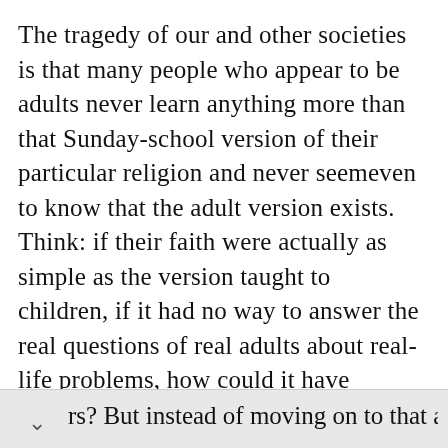The tragedy of our and other societies is that many people who appear to be adults never learn anything more than that Sunday-school version of their particular religion and never seemeven  to know that the adult version exists. Think: if their faith were actually as simple as the version taught to children, if it had no way to answer the real questions of real adults about real-life problems, how could it have survived for thousands of rs? But instead of moving on to that adult